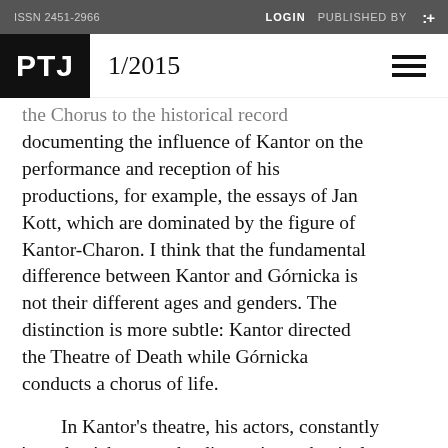ISSN 2451-2966   LOGIN   PUBLISHED BY   :+
PTJ   1/2015
the Chorus to the historical record documenting the influence of Kantor on the performance and reception of his productions, for example, the essays of Jan Kott, which are dominated by the figure of Kantor-Charon. I think that the fundamental difference between Kantor and Górnicka is not their different ages and genders. The distinction is more subtle: Kantor directed the Theatre of Death while Górnicka conducts a chorus of life.
In Kantor's theatre, his actors, constantly 'urged on', became the director's mechanical marionettes and passive doppelgängers of